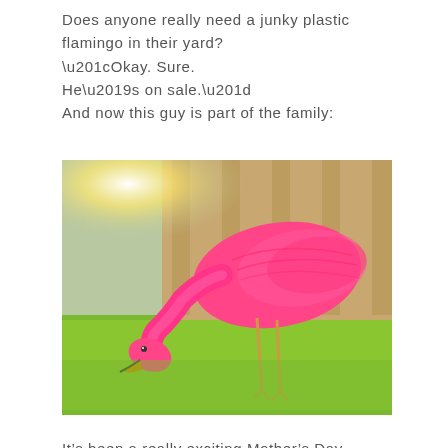Does anyone really need a junky plastic flamingo in their yard? “Okay. Sure. He’s on sale.” And now this guy is part of the family:
[Figure (photo): A bright pink plastic lawn flamingo standing on green grass in a yard, with a wooden fence and sunlight in the background. The flamingo is bending its neck downward.]
It’s been a really exciting Mother’s Day.
Actually it has. The family was real sweet to